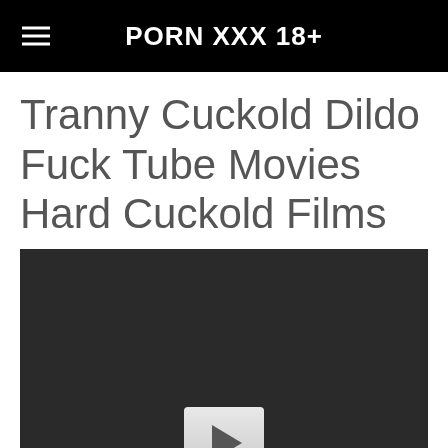PORN XXX 18+
Tranny Cuckold Dildo Fuck Tube Movies Hard Cuckold Films
[Figure (screenshot): Video player with dark background and a play button centered at the bottom]